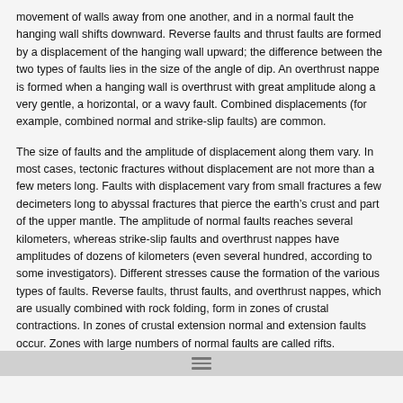movement of walls away from one another, and in a normal fault the hanging wall shifts downward. Reverse faults and thrust faults are formed by a displacement of the hanging wall upward; the difference between the two types of faults lies in the size of the angle of dip. An overthrust nappe is formed when a hanging wall is overthrust with great amplitude along a very gentle, a horizontal, or a wavy fault. Combined displacements (for example, combined normal and strike-slip faults) are common.
The size of faults and the amplitude of displacement along them vary. In most cases, tectonic fractures without displacement are not more than a few meters long. Faults with displacement vary from small fractures a few decimeters long to abyssal fractures that pierce the earth’s crust and part of the upper mantle. The amplitude of normal faults reaches several kilometers, whereas strike-slip faults and overthrust nappes have amplitudes of dozens of kilometers (even several hundred, according to some investigators). Different stresses cause the formation of the various types of faults. Reverse faults, thrust faults, and overthrust nappes, which are usually combined with rock folding, form in zones of crustal contractions. In zones of crustal extension normal and extension faults occur. Zones with large numbers of normal faults are called rifts.